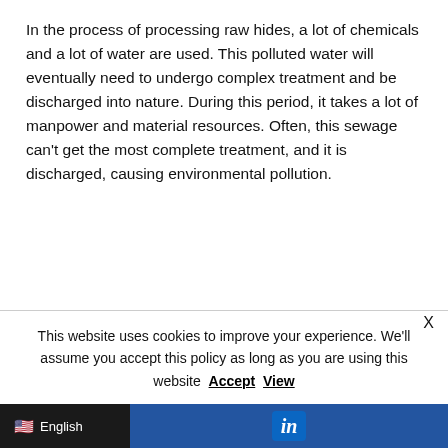In the process of processing raw hides, a lot of chemicals and a lot of water are used. This polluted water will eventually need to undergo complex treatment and be discharged into nature. During this period, it takes a lot of manpower and material resources. Often, this sewage can't get the most complete treatment, and it is discharged, causing environmental pollution.
This website uses cookies to improve your experience. We'll assume you accept this policy as long as you are using this website Accept View
🇺🇸 English | in